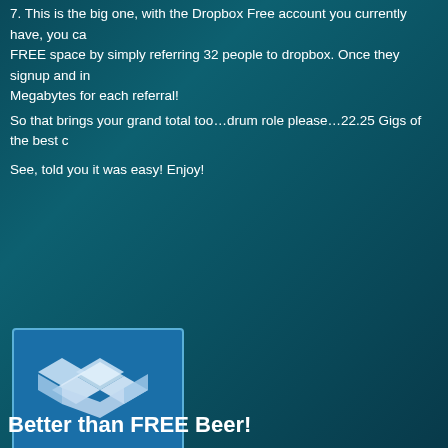7. This is the big one, with the Dropbox Free account you currently have, you can get up to 16GB of FREE space by simply referring 32 people to dropbox. Once they signup and install, you get 500 Megabytes for each referral!
So that brings your grand total too…drum role please…22.25 Gigs of the best cloud storage around!
See, told you it was easy! Enjoy!
[Figure (logo): Dropbox logo image with blue background showing the Dropbox icon (open box with diamond shape), the word 'Dropbox' in bold white text, a dashed border, and the caption 'Get FREE Space!' below]
Tags: backup, cloud, data, sync
Better than FREE Beer!